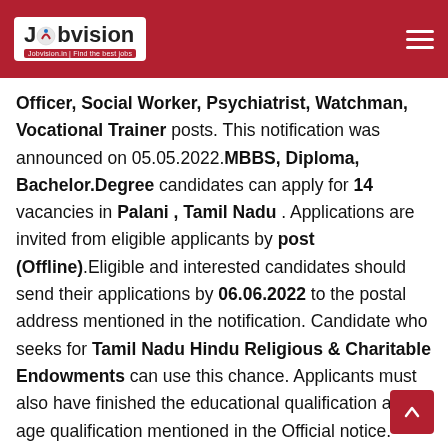Jobvision | Find the best jobs
Officer, Social Worker, Psychiatrist, Watchman, Vocational Trainer posts. This notification was announced on 05.05.2022. MBBS, Diploma, Bachelor.Degree candidates can apply for 14 vacancies in Palani , Tamil Nadu . Applications are invited from eligible applicants by post (Offline).Eligible and interested candidates should send their applications by 06.06.2022 to the postal address mentioned in the notification. Candidate who seeks for Tamil Nadu Hindu Religious & Charitable Endowments can use this chance. Applicants must also have finished the educational qualification and age qualification mentioned in the Official notice. Those candidates who are interested in the following vacancy must Download and read the Official notification before applying to know the education